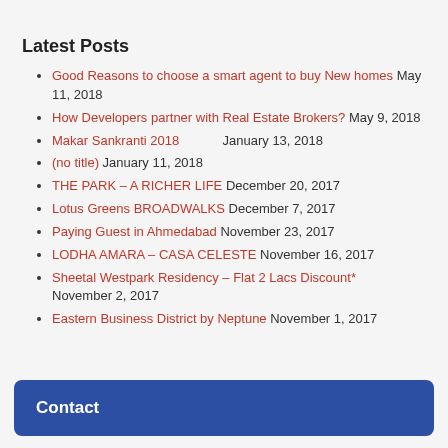Latest Posts
Good Reasons to choose a smart agent to buy New homes May 11, 2018
How Developers partner with Real Estate Brokers? May 9, 2018
Makar Sankranti 2018 January 13, 2018
(no title) January 11, 2018
THE PARK – A RICHER LIFE December 20, 2017
Lotus Greens BROADWALKS December 7, 2017
Paying Guest in Ahmedabad November 23, 2017
LODHA AMARA – CASA CELESTE November 16, 2017
Sheetal Westpark Residency – Flat 2 Lacs Discount* November 2, 2017
Eastern Business District by Neptune November 1, 2017
Contact